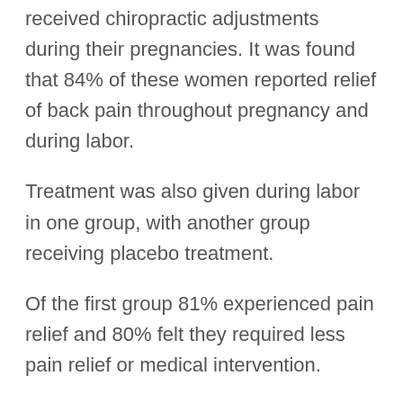received chiropractic adjustments during their pregnancies. It was found that 84% of these women reported relief of back pain throughout pregnancy and during labor.
Treatment was also given during labor in one group, with another group receiving placebo treatment.
Of the first group 81% experienced pain relief and 80% felt they required less pain relief or medical intervention.
Chiropractic care is safe, gentle and effective. Such care should be considered to relieve and